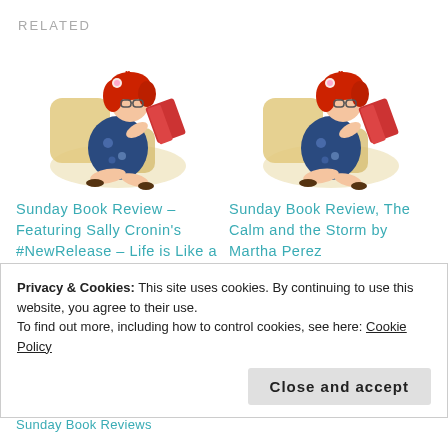RELATED
[Figure (illustration): Cartoon illustration of a red-haired woman sitting on cushions reading a book]
Sunday Book Review – Featuring Sally Cronin's #NewRelease – Life is Like a Bowl of Cherries
December 20, 2020
[Figure (illustration): Cartoon illustration of a red-haired woman sitting on cushions reading a book]
Sunday Book Review, The Calm and the Storm by Martha Perez
May 15, 2022
In "Book review"
Privacy & Cookies: This site uses cookies. By continuing to use this website, you agree to their use.
To find out more, including how to control cookies, see here: Cookie Policy
Close and accept
Sunday Book Reviews